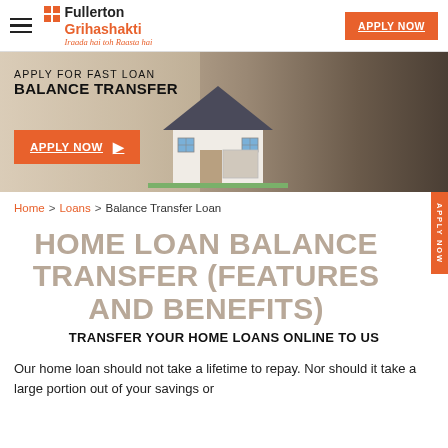[Figure (logo): Fullerton Grihashakti logo with orange grid squares and tagline 'Iraada hai toh Raasta hai']
[Figure (photo): Banner image showing a house model and a person writing, with orange Apply Now button and text 'APPLY FOR FAST LOAN BALANCE TRANSFER']
Home > Loans > Balance Transfer Loan
HOME LOAN BALANCE TRANSFER (FEATURES AND BENEFITS)
TRANSFER YOUR HOME LOANS ONLINE TO US
Our home loan should not take a lifetime to repay. Nor should it take a large portion out of your savings or